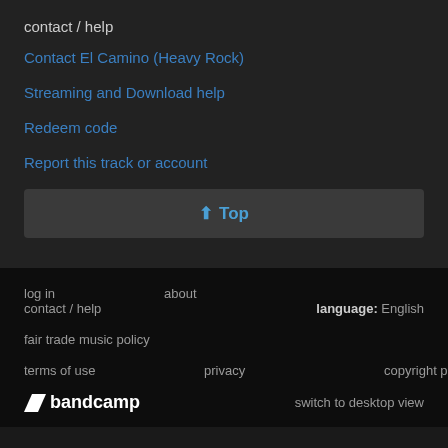contact / help
Contact El Camino (Heavy Rock)
Streaming and Download help
Redeem code
Report this track or account
⬆ Top
log in   about   contact / help   language: English   fair trade music policy   terms of use   privacy   copyright policy   bandcamp   switch to desktop view